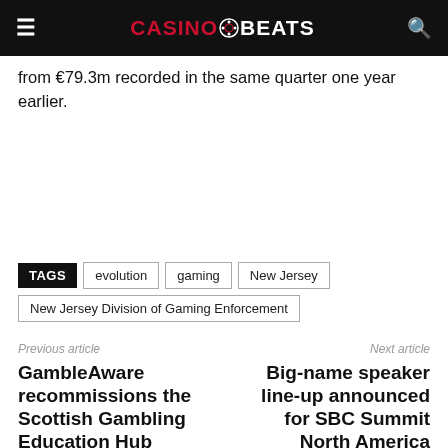CASINOBEATS
from €79.3m recorded in the same quarter one year earlier.
TAGS: evolution, gaming, New Jersey, New Jersey Division of Gaming Enforcement
Previous article
GambleAware recommissions the Scottish Gambling Education Hub
Next article
Big-name speaker line-up announced for SBC Summit North America
RELATED ARTICLES   MORE FROM AUTHOR